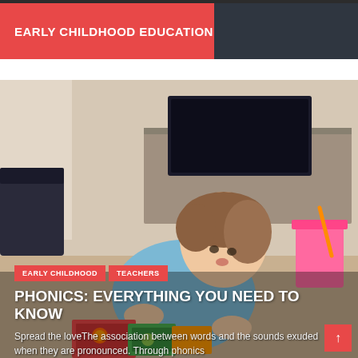EARLY CHILDHOOD EDUCATION
[Figure (photo): Young child with brown hair leaning over colorful books/cards on the floor, reading or looking at them intently. Background shows a living room with a TV stand and a pink toy basket.]
EARLY CHILDHOOD   TEACHERS
PHONICS: EVERYTHING YOU NEED TO KNOW
Spread the loveThe association between words and the sounds exuded when they are pronounced. Through phonics